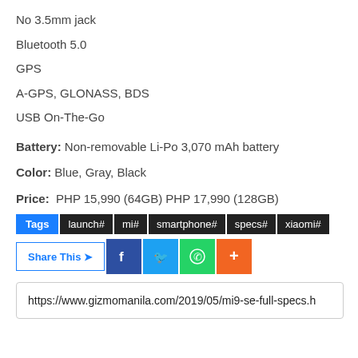No 3.5mm jack
Bluetooth 5.0
GPS
A-GPS, GLONASS, BDS
USB On-The-Go
Battery: Non-removable Li-Po 3,070 mAh battery
Color: Blue, Gray, Black
Price: PHP 15,990 (64GB) PHP 17,990 (128GB)
Tags  launch#  mi#  smartphone#  specs#  xiaomi#
Share This  [Facebook] [Twitter] [WhatsApp] [+]
https://www.gizmomanila.com/2019/05/mi9-se-full-specs.h